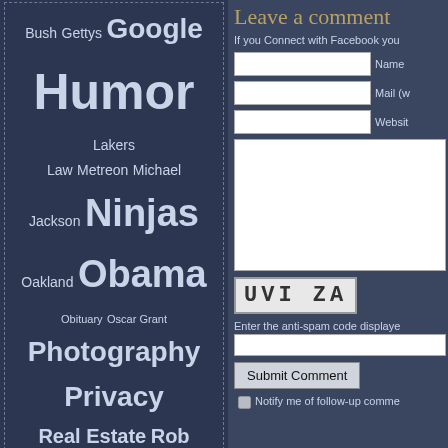[Figure (other): Tag cloud with topics including Bush, Gettys, Google, Humor, Lakers, Law, Metreon, Michael, Jackson, Ninjas, Oakland, Obama, Obituary, Oscar Grant, Photography, Privacy, Real Estate, Rob Mariano, SFIFF, Skateboarding, Star Trek, Star Wars, Swine Flu, Technology, Travel, Weather, Web 2.0, Xbox, xkcd — displayed in varying font sizes on dark navy background with dashed border]
Categories
Art (20)
Friday Fives (12)
Geek Out (232)
Jimmy's Corner (87)
Meerenai's Closet (8)
Mike's Doghouse (5)
Music, TV, & Film (302)
Leave a comment
If you Connect with Facebook you
Name
Mail (w
Websit
[Figure (other): CAPTCHA image showing distorted text 'UVI ZA']
Enter the anti-spam code displaye
Submit Comment
Notify me of follow-up comme